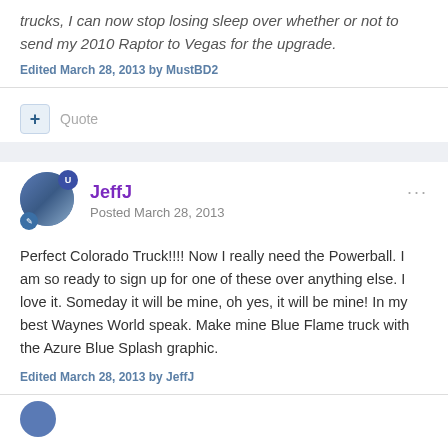trucks, I can now stop losing sleep over whether or not to send my 2010 Raptor to Vegas for the upgrade.
Edited March 28, 2013 by MustBD2
Quote
JeffJ
Posted March 28, 2013
Perfect Colorado Truck!!!! Now I really need the Powerball. I am so ready to sign up for one of these over anything else. I love it. Someday it will be mine, oh yes, it will be mine! In my best Waynes World speak. Make mine Blue Flame truck with the Azure Blue Splash graphic.
Edited March 28, 2013 by JeffJ